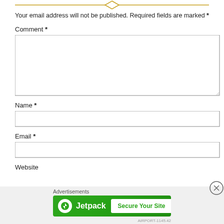[Figure (illustration): Gold decorative horizontal divider with diamond shape in center, lines extending left and right]
Your email address will not be published. Required fields are marked *
Comment *
[Figure (screenshot): Empty comment textarea input box]
Name *
[Figure (screenshot): Empty name text input box]
Email *
[Figure (screenshot): Empty email text input box]
Website
[Figure (screenshot): Jetpack advertisement banner with green background showing Jetpack logo and 'Secure Your Site' button, with close (X) button overlay]
Advertisements